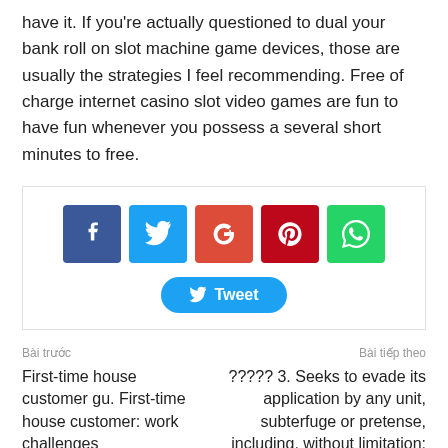have it. If you're actually questioned to dual your bank roll on slot machine game devices, those are usually the strategies I feel recommending. Free of charge internet casino slot video games are fun to have fun whenever you possess a several short minutes to free.
[Figure (infographic): Social share bar with Facebook, Twitter, Google+, Pinterest, WhatsApp icons and a Tweet button]
Bài trước
First-time house customer gu. First-time house customer: work challenges
Bài tiếp theo
????? 3. Seeks to evade its application by any unit, subterfuge or pretense, including, without limitation: